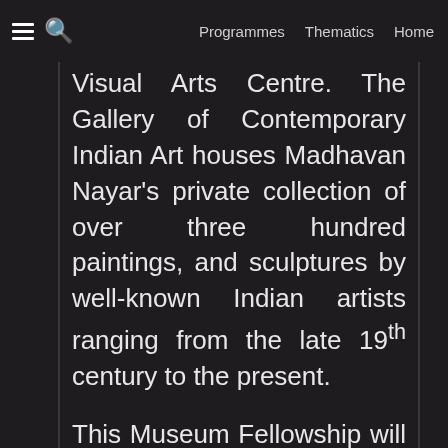≡ 🔍   Programmes   Thematics   Home
Visual Arts Centre. The Gallery of Contemporary Indian Art houses Madhavan Nayar's private collection of over three hundred paintings, and sculptures by well-known Indian artists ranging from the late 19th century to the present.
This Museum Fellowship will support a curator to explore innovative ways of animating, and re-presenting the Gallery's eclectic yet representative collection from a contemporary context.
About the Gallery of Contemporary Indian Art: